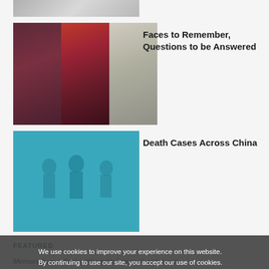[Figure (photo): Partial top image, appears to be a decorative or header image partially visible]
[Figure (photo): Three photos side by side: a woman looking pensive, a family portrait, and a man in a white shirt with official seal/badge visible]
Faces to Remember, Questions to be Answered
[Figure (photo): Blue-tinted image of silhouetted figures that appear to be police or military personnel]
Death Cases Across China
FEATURED
Memoirs from a Beijing Women's Prison: "I wish I was imprisoned to use our
Reported Sentencings of 96 Falun Gong Practitioners in May...
We use cookies to improve your experience on this website. By continuing to use our site, you accept our use of cookies.